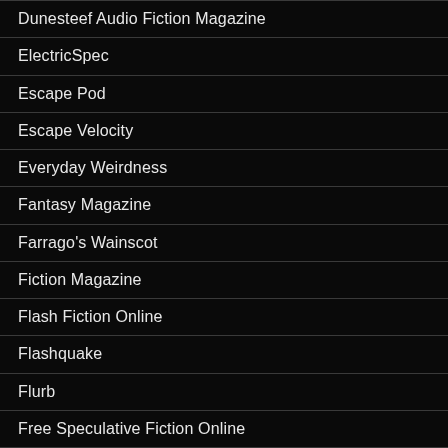Dunesteef Audio Fiction Magazine
ElectricSpec
Escape Pod
Escape Velocity
Everyday Weirdness
Fantasy Magazine
Farrago's Wainscot
Fiction Magazine
Flash Fiction Online
Flashquake
Flurb
Free Speculative Fiction Online